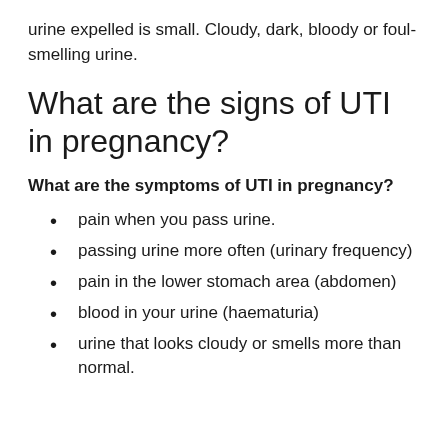urine expelled is small. Cloudy, dark, bloody or foul-smelling urine.
What are the signs of UTI in pregnancy?
What are the symptoms of UTI in pregnancy?
pain when you pass urine.
passing urine more often (urinary frequency)
pain in the lower stomach area (abdomen)
blood in your urine (haematuria)
urine that looks cloudy or smells more than normal.